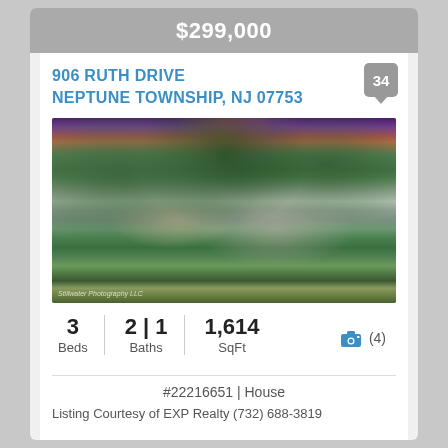$299,000
906 RUTH DRIVE
NEPTUNE TOWNSHIP, NJ 07753
[Figure (photo): Exterior photo of a split-level house with blue/gray siding, large trees, green bushes, a garage, and trash cans in the driveway, taken at dusk with a purple-pink sky.]
3
Beds
2 | 1
Baths
1,614
SqFt
#22216651 | House
Listing Courtesy of EXP Realty (732) 688-3819